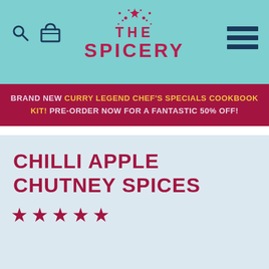The Spicery
BRAND NEW CURRY LEGEND CHEF'S SPECIALS COOKBOOK KIT! PRE-ORDER NOW FOR A FANTASTIC 50% OFF!
CHILLI APPLE CHUTNEY SPICES
★ ★ ★ ★ ★